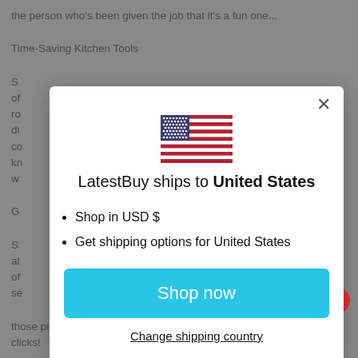the person who's been given the job that it's a fun one...
Time-Saving Kitchen Tools
[Figure (screenshot): Modal dialog: LatestBuy ships to United States, with US flag, bullet points for USD and shipping options, Shop now button, and Change shipping country link.]
those piles of possessions into mini-masterpiece displays in clicks!